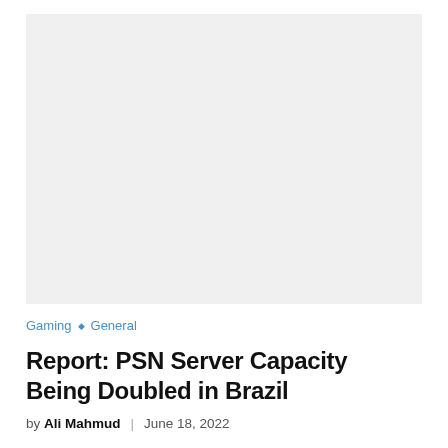[Figure (photo): Large image placeholder with light gray background, likely a featured article image]
Gaming ◇ General
Report: PSN Server Capacity Being Doubled in Brazil
by Ali Mahmud | June 18, 2022